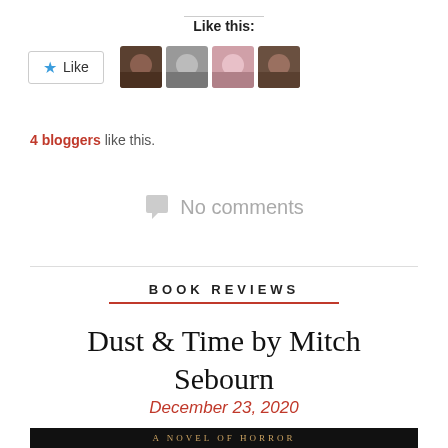Like this:
[Figure (other): Like button with star icon and four blogger avatar thumbnails]
4 bloggers like this.
No comments
BOOK REVIEWS
Dust & Time by Mitch Sebourn
December 23, 2020
[Figure (photo): Book cover strip showing text 'A Novel of Horror' in gold serif letters on black background]